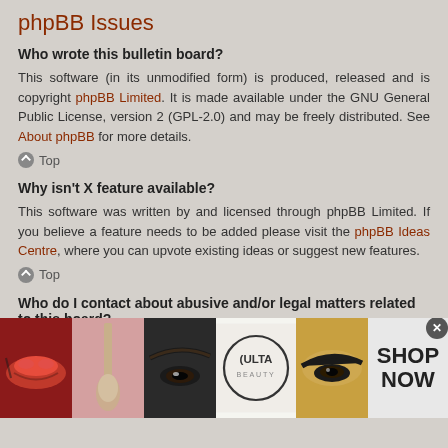phpBB Issues
Who wrote this bulletin board?
This software (in its unmodified form) is produced, released and is copyright phpBB Limited. It is made available under the GNU General Public License, version 2 (GPL-2.0) and may be freely distributed. See About phpBB for more details.
Top
Why isn't X feature available?
This software was written by and licensed through phpBB Limited. If you believe a feature needs to be added please visit the phpBB Ideas Centre, where you can upvote existing ideas or suggest new features.
Top
Who do I contact about abusive and/or legal matters related to this board?
Any of the administrators listed on the “The team” page should be an
[Figure (photo): Advertisement banner for ULTA Beauty showing makeup images (lips with lipstick, makeup brush, eye with brow, ULTA Beauty logo, eye with dramatic makeup) and a SHOP NOW call-to-action button]